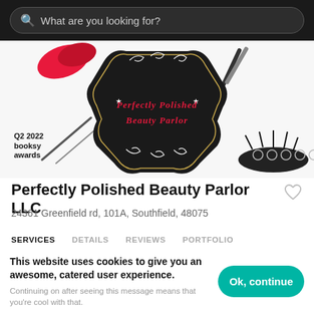What are you looking for?
[Figure (logo): Perfectly Polished Beauty Parlor LLC business banner with ornate black badge logo, red lips, makeup brushes, eyelashes, and Q2 2022 Booksy Awards badge. Carousel dots on right.]
Perfectly Polished Beauty Parlor LLC
24361 Greenfield rd, 101A, Southfield, 48075
SERVICES	DETAILS	REVIEWS	PORTFOLIO
This website uses cookies to give you an awesome, catered user experience. Continuing on after seeing this message means that you're cool with that.
Ok, continue
Non refundable or transferable DEPOSITS!
Varies
5min